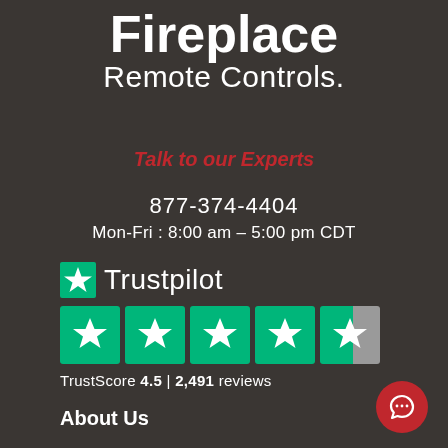Fireplace Remote Controls.
Talk to our Experts
877-374-4404
Mon-Fri : 8:00 am – 5:00 pm CDT
[Figure (logo): Trustpilot logo with green star icon and Trustpilot wordmark, followed by five star rating boxes (4 full green stars and 1 half green/grey star). TrustScore 4.5 | 2,491 reviews]
About Us